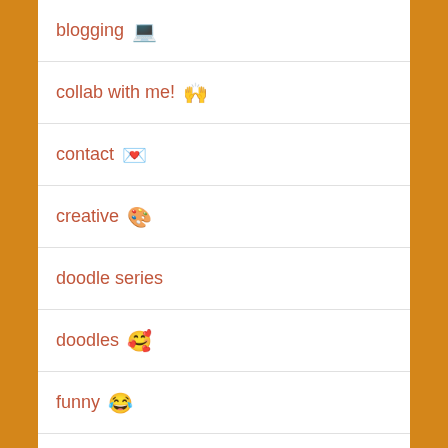blogging 💻
collab with me! 🙌
contact 💌
creative 🎨
doodle series
doodles 🥰
funny 😂
hi there!